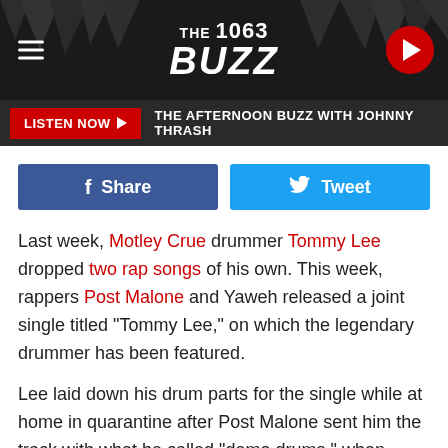THE 1063 BUZZ — THE AFTERNOON BUZZ WITH JOHNNY THRASH
f Share   Tweet
Last week, Motley Crue drummer Tommy Lee dropped two rap songs of his own. This week, rappers Post Malone and Yaweh released a joint single titled "Tommy Lee," on which the legendary drummer has been featured.
Lee laid down his drum parts for the single while at home in quarantine after Post Malone sent him the track with what he called "demo drums," when talking to SiriusXM's Debatable. "It's killer," he said. "It's basically [an ode to] living that rock star life that people in hip-hop always seem to talk